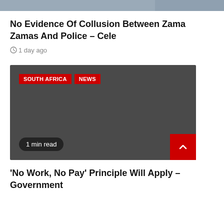[Figure (photo): Partial top image showing people, cropped at the top of the page]
No Evidence Of Collusion Between Zama Zamas And Police – Cele
1 day ago
[Figure (photo): Dark gray card image with SOUTH AFRICA and NEWS tags and 1 min read label]
'No Work, No Pay' Principle Will Apply – Government